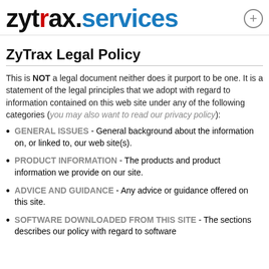zytrax.services
ZyTrax Legal Policy
This is NOT a legal document neither does it purport to be one. It is a statement of the legal principles that we adopt with regard to information contained on this web site under any of the following categories (you may also want to read our privacy policy):
GENERAL ISSUES - General background about the information on, or linked to, our web site(s).
PRODUCT INFORMATION - The products and product information we provide on our site.
ADVICE AND GUIDANCE - Any advice or guidance offered on this site.
SOFTWARE DOWNLOADED FROM THIS SITE - The sections describes our policy with regard to software...